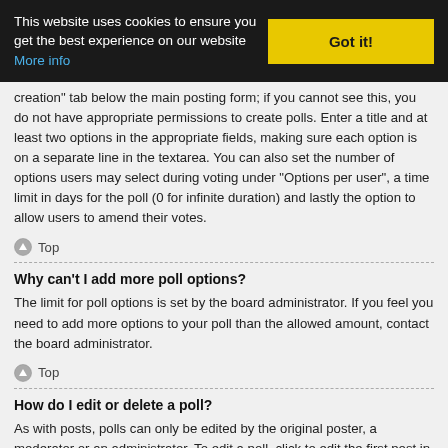This website uses cookies to ensure you get the best experience on our website More info | Got it!
creation" tab below the main posting form; if you cannot see this, you do not have appropriate permissions to create polls. Enter a title and at least two options in the appropriate fields, making sure each option is on a separate line in the textarea. You can also set the number of options users may select during voting under “Options per user”, a time limit in days for the poll (0 for infinite duration) and lastly the option to allow users to amend their votes.
Top
Why can’t I add more poll options?
The limit for poll options is set by the board administrator. If you feel you need to add more options to your poll than the allowed amount, contact the board administrator.
Top
How do I edit or delete a poll?
As with posts, polls can only be edited by the original poster, a moderator or an administrator. To edit a poll, click to edit the first post in the topic; this always has the poll associated with it. If no one has cast a vote, users can delete the poll or edit any poll option. However, if members have already placed votes, only moderators or administrators can edit or delete it. This prevents the poll’s options from being changed mid-way through a poll.